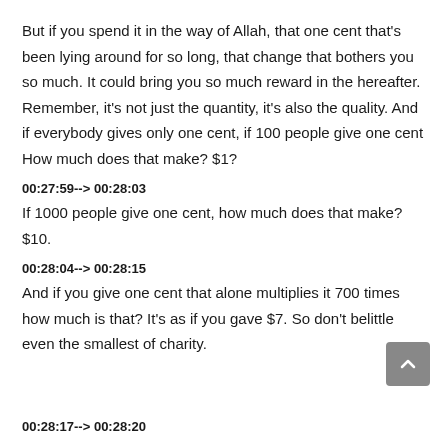But if you spend it in the way of Allah, that one cent that's been lying around for so long, that change that bothers you so much. It could bring you so much reward in the hereafter. Remember, it's not just the quantity, it's also the quality. And if everybody gives only one cent, if 100 people give one cent How much does that make? $1?
00:27:59--> 00:28:03
If 1000 people give one cent, how much does that make? $10.
00:28:04--> 00:28:15
And if you give one cent that alone multiplies it 700 times how much is that? It's as if you gave $7. So don't belittle even the smallest of charity.
00:28:17--> 00:28:20